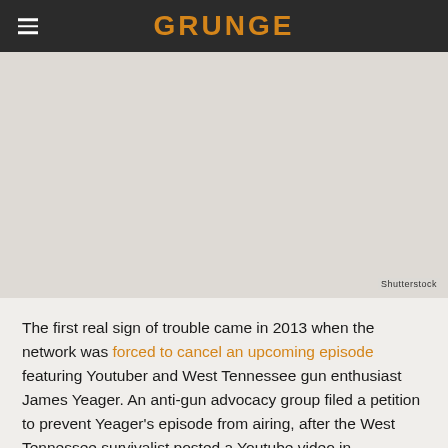GRUNGE
[Figure (photo): Placeholder image area with Shutterstock watermark]
The first real sign of trouble came in 2013 when the network was forced to cancel an upcoming episode featuring Youtuber and West Tennessee gun enthusiast James Yeager. An anti-gun advocacy group filed a petition to prevent Yeager's episode from airing, after the West Tennessee survivalist posted a Youtube video in